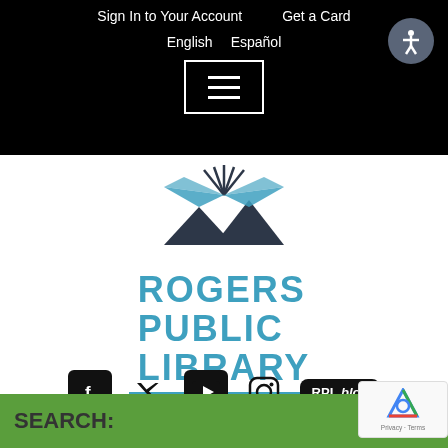Sign In to Your Account   Get a Card
English   Español
[Figure (logo): Hamburger menu icon button with three white horizontal lines on black background]
[Figure (logo): Rogers Public Library logo: open book with rays above dark mountain silhouette, text reads ROGERS PUBLIC LIBRARY in teal/blue]
[Figure (infographic): Social media icons row: Facebook, Twitter, YouTube, Instagram, RPL blog button]
SEARCH: